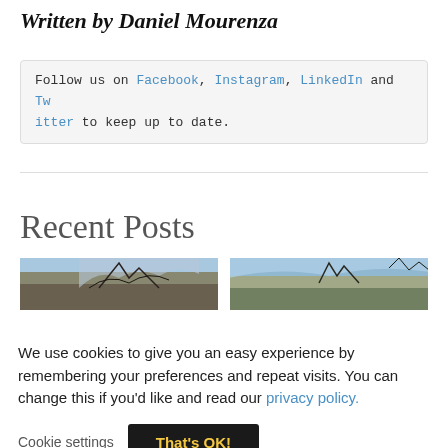Written by Daniel Mourenza
Follow us on Facebook, Instagram, LinkedIn and Twitter to keep up to date.
Recent Posts
[Figure (photo): Two outdoor/nature photographs side by side, partially visible, showing trees and sky]
We use cookies to give you an easy experience by remembering your preferences and repeat visits. You can change this if you'd like and read our privacy policy.
Cookie settings   That's OK!